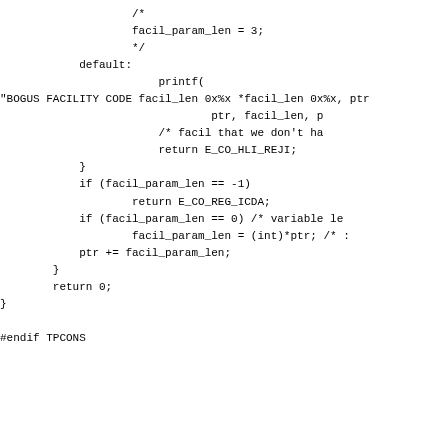/*
                    facil_param_len = 3;
                    */
            default:
                        printf(
"BOGUS FACILITY CODE facil_len 0x%x *facil_len 0x%x, ptr
                                ptr, facil_len, p
                        /* facil that we don't ha
                        return E_CO_HLI_REJI;
            }
            if (facil_param_len == -1)
                    return E_CO_REG_ICDA;
            if (facil_param_len == 0) /* variable le
                    facil_param_len = (int)*ptr; /* :
            ptr += facil_param_len;
        }
        return 0;
}

#endif TPCONS